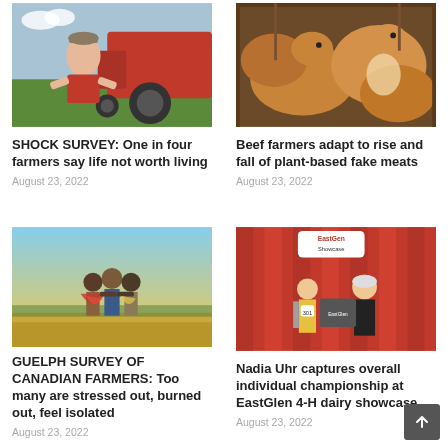[Figure (photo): Farmer smiling in front of a red tractor]
SHOCK SURVEY: One in four farmers say life not worth living
August 23, 2022
[Figure (photo): Brown cattle in a pen]
Beef farmers adapt to rise and fall of plant-based fake meats
August 23, 2022
[Figure (photo): Group of people with arms around each other in a golden field]
GUELPH SURVEY OF CANADIAN FARMERS: Too many are stressed out, burned out, feel isolated
August 23, 2022
[Figure (photo): Nadia Uhr at EastGen Showcase event with a man, red curtain background]
Nadia Uhr captures overall individual championship at EastGlen 4-H dairy showcase
August 23, 2022